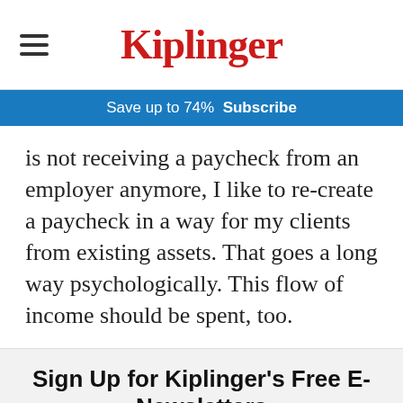Kiplinger
Save up to 74%  Subscribe
is not receiving a paycheck from an employer anymore, I like to re-create a paycheck in a way for my clients from existing assets. That goes a long way psychologically. This flow of income should be spent, too.
Sign Up for Kiplinger's Free E-Newsletters
Profit and prosper with the best of Kiplinger's advice on investing, taxes, retirement, personal finance and